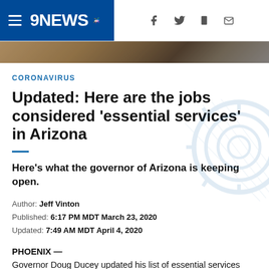9NEWS — navigation bar with logo, hamburger menu, and social icons (Facebook, Twitter, mobile, email)
[Figure (photo): Partial photo strip showing a blurred/cropped image at top of article]
CORONAVIRUS
Updated: Here are the jobs considered 'essential services' in Arizona
Here’s what the governor of Arizona is keeping open.
Author: Jeff Vinton
Published: 6:17 PM MDT March 23, 2020
Updated: 7:49 AM MDT April 4, 2020
PHOENIX — Governor Doug Ducey updated his list of essential services